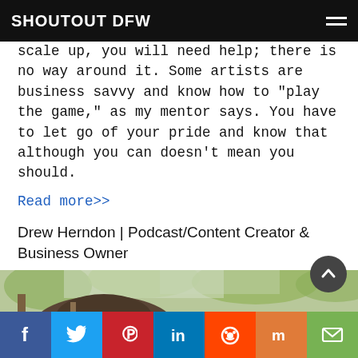SHOUTOUT DFW
scale up, you will need help; there is no way around it. Some artists are business savvy and know how to “play the game,” as my mentor says. You have to let go of your pride and know that although you can doesn’t mean you should.
Read more>>
Drew Herndon | Podcast/Content Creator & Business Owner
[Figure (photo): Photo of Drew Herndon outdoors with trees in the background]
Social share bar: Facebook, Twitter, Pinterest, LinkedIn, Reddit, Mix, Email